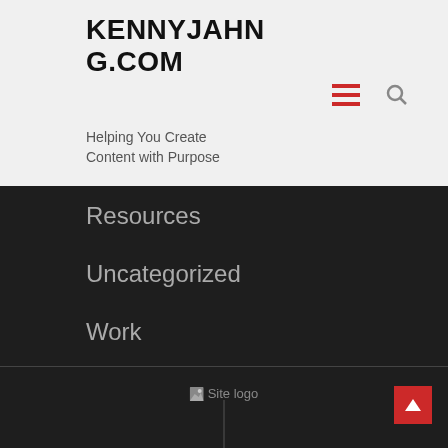KENNYJAHNG.COM
Helping You Create Content with Purpose
Resources
Uncategorized
Work
[Figure (logo): Site logo placeholder image with alt text 'Site logo']